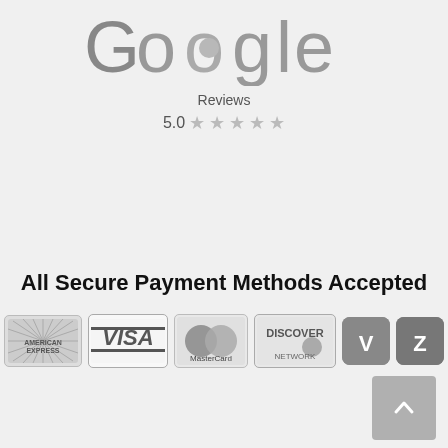[Figure (logo): Google Reviews logo with 5.0 star rating. Shows the Google wordmark in gray, 'Reviews' text below, and '5.0' with five gray stars.]
All Secure Payment Methods Accepted
[Figure (infographic): Payment method icons: American Express, Visa, MasterCard, Discover Network, Venmo (V), Zelle (Z)]